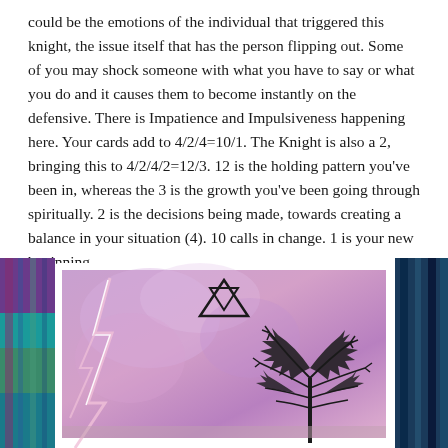could be the emotions of the individual that triggered this knight, the issue itself that has the person flipping out. Some of you may shock someone with what you have to say or what you do and it causes them to become instantly on the defensive.  There is Impatience and Impulsiveness happening here. Your cards add to 4/2/4=10/1. The Knight is also a 2, bringing this to 4/2/4/2=12/3. 12 is the holding pattern you've been in, whereas the 3 is the growth you've been going through spiritually. 2 is the decisions being made, towards creating a balance in your situation (4). 10 calls in change. 1 is your new beginning.
[Figure (photo): A tarot card showing a watercolor illustration with a purple/pink stormy sky, lightning bolt on the left, a dark spiky tree or bush on the right, and a triangle with a downward-pointing inner triangle (alchemical symbol) in the upper center. The card has a white border and is photographed on colorful fabric.]